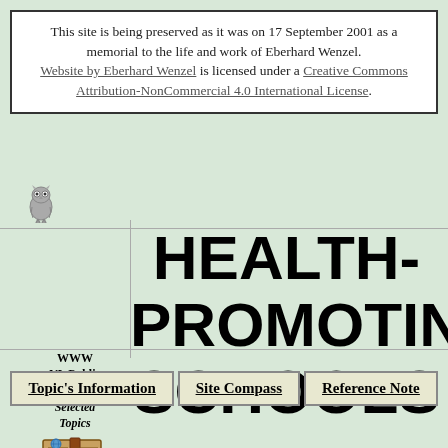This site is being preserved as it was on 17 September 2001 as a memorial to the life and work of Eberhard Wenzel. Website by Eberhard Wenzel is licensed under a Creative Commons Attribution-NonCommercial 4.0 International License.
[Figure (illustration): Small grey owl icon]
HEALTH-PROMOTING SCHOOLS
[Figure (illustration): Open books/library icon with WWW VL Public Health: Selected Topics text]
Topic's Information
Site Compass
Reference Note